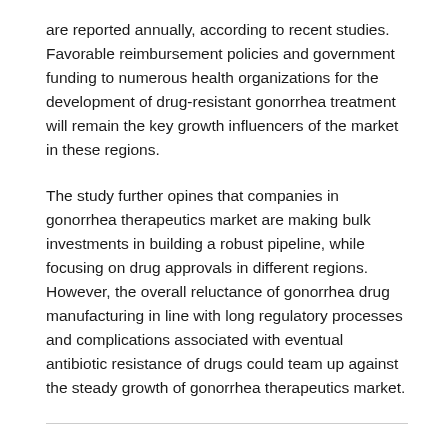are reported annually, according to recent studies. Favorable reimbursement policies and government funding to numerous health organizations for the development of drug-resistant gonorrhea treatment will remain the key growth influencers of the market in these regions.
The study further opines that companies in gonorrhea therapeutics market are making bulk investments in building a robust pipeline, while focusing on drug approvals in different regions. However, the overall reluctance of gonorrhea drug manufacturing in line with long regulatory processes and complications associated with eventual antibiotic resistance of drugs could team up against the steady growth of gonorrhea therapeutics market.